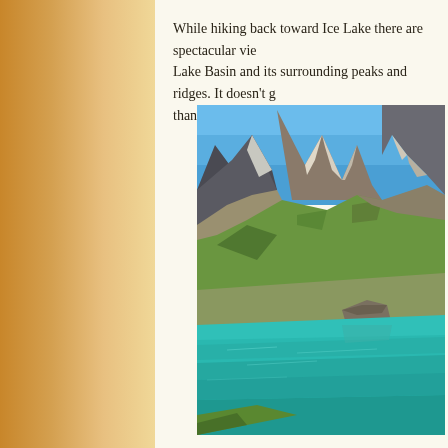While hiking back toward Ice Lake there are spectacular views of Ice Lake Basin and its surrounding peaks and ridges. It doesn't get more beautiful than this anywhere.
[Figure (photo): A turquoise alpine lake (Ice Lake) surrounded by dramatic rocky mountain peaks and green meadow slopes under a clear blue sky.]